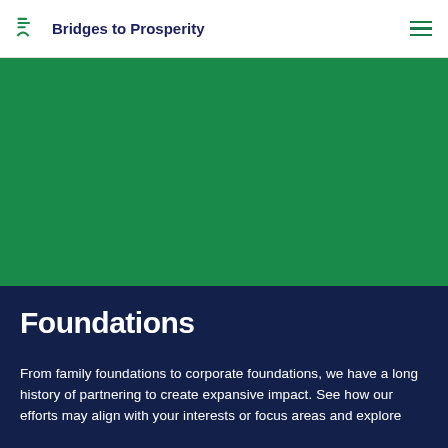Bridges to Prosperity
[Figure (photo): Green background hero image area]
Foundations
From family foundations to corporate foundations, we have a long history of partnering to create expansive impact. See how our efforts may align with your interests or focus areas and explore